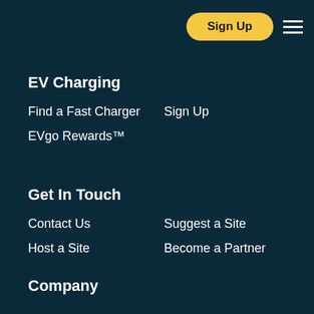Sign Up
EV Charging
Find a Fast Charger
Sign Up
EVgo Rewards™
Get In Touch
Contact Us
Suggest a Site
Host a Site
Become a Partner
Company